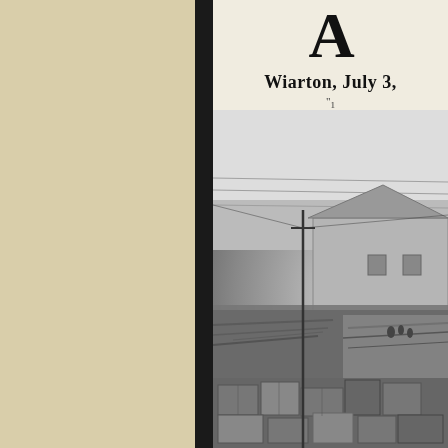Wiarton, July 3,
[Figure (photo): Black and white historical newspaper photograph showing a lumber yard or sawmill operation. A wooden building/barn is visible in the background, with large piles of lumber or wood debris in the middle ground. Wooden crates or boxes are stacked in the foreground. A utility pole is visible. Several figures can be seen near the building. The photo has the grainy quality typical of early 20th century newspaper reproduction.]